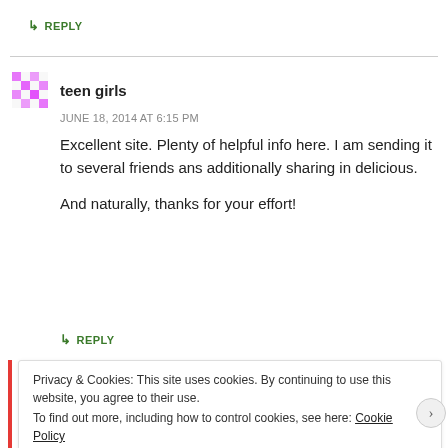↳ REPLY
teen girls
JUNE 18, 2014 AT 6:15 PM
Excellent site. Plenty of helpful info here. I am sending it to several friends ans additionally sharing in delicious.

And naturally, thanks for your effort!
↳ REPLY
Privacy & Cookies: This site uses cookies. By continuing to use this website, you agree to their use.
To find out more, including how to control cookies, see here: Cookie Policy
Close and accept